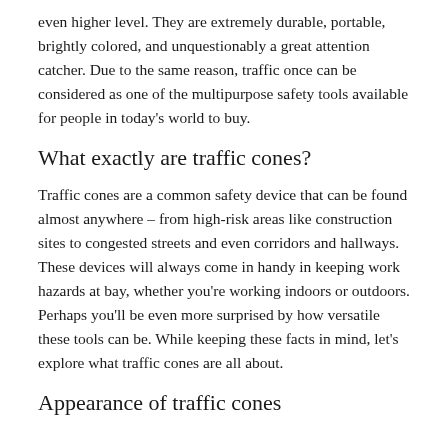even higher level. They are extremely durable, portable, brightly colored, and unquestionably a great attention catcher. Due to the same reason, traffic once can be considered as one of the multipurpose safety tools available for people in today's world to buy.
What exactly are traffic cones?
Traffic cones are a common safety device that can be found almost anywhere – from high-risk areas like construction sites to congested streets and even corridors and hallways. These devices will always come in handy in keeping work hazards at bay, whether you're working indoors or outdoors. Perhaps you'll be even more surprised by how versatile these tools can be. While keeping these facts in mind, let's explore what traffic cones are all about.
Appearance of traffic cones